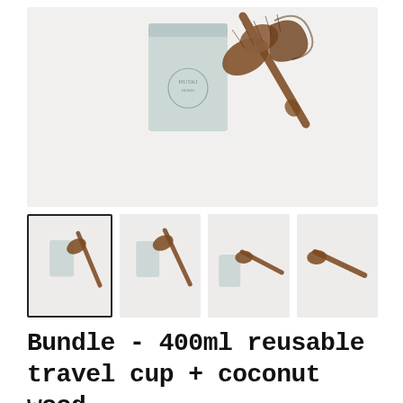[Figure (photo): Main product photo showing a light blue/grey Huski Home reusable travel cup and a coconut wood bottle brush with curled natural bristles, on a white background.]
[Figure (photo): Thumbnail 1 (selected): Small cup and bottle brush laid diagonally on white background.]
[Figure (photo): Thumbnail 2: Small cup and bottle brush at slight angle on white background.]
[Figure (photo): Thumbnail 3: Small cup and bottle brush lying flat on white background.]
[Figure (photo): Thumbnail 4: Just the bottle brush on white background, no cup visible.]
Bundle - 400ml reusable travel cup + coconut wood bottle brush